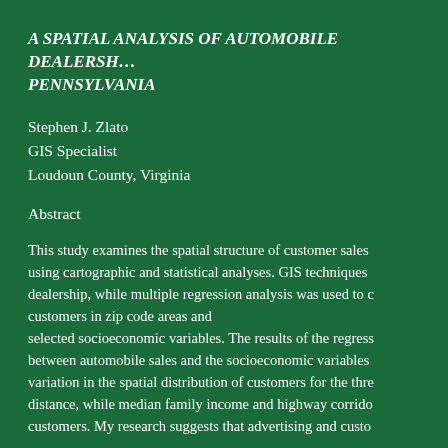A SPATIAL ANALYSIS OF AUTOMOBILE DEALERSHIPS IN PENNSYLVANIA
Stephen J. Zlato
GIS Specialist
Loudoun County, Virginia
Abstract
This study examines the spatial structure of customer sales using cartographic and statistical analyses. GIS techniques dealership, while multiple regression analysis was used to c customers in zip code areas and selected socioeconomic variables. The results of the regress between automobile sales and the socioeconomic variables variation in the spatial distribution of customers for the thr distance, while median family income and highway corrido customers. My research suggests that advertising and custo